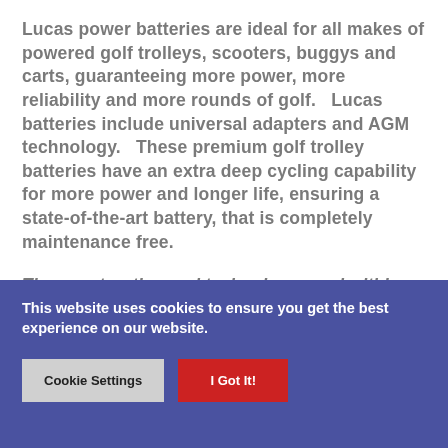Lucas power batteries are ideal for all makes of powered golf trolleys, scooters, buggys and carts, guaranteeing more power, more reliability and more rounds of golf.   Lucas batteries include universal adapters and AGM technology.   These premium golf trolley batteries have an extra deep cycling capability for more power and longer life, ensuring a state-of-the-art battery, that is completely maintenance free.
The construction and technology used within Lucas batteries determines how well they will perform
This website uses cookies to ensure you get the best experience on our website.
Cookie Settings
I Got It!